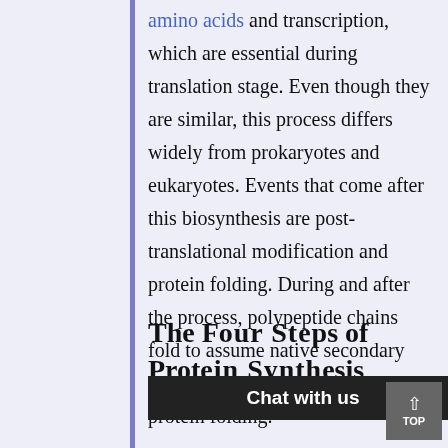amino acids and transcription, which are essential during translation stage. Even though they are similar, this process differs widely from prokaryotes and eukaryotes. Events that come after this biosynthesis are post-translational modification and protein folding. During and after the process, polypeptide chains fold to assume native secondary and tertiary structures through protein folding.
The Four Steps of Protein Synthesis